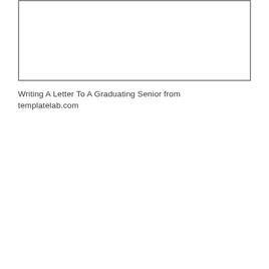[Figure (other): A rectangular bordered box representing a letter template area, mostly blank white space with a gray border.]
Writing A Letter To A Graduating Senior from templatelab.com